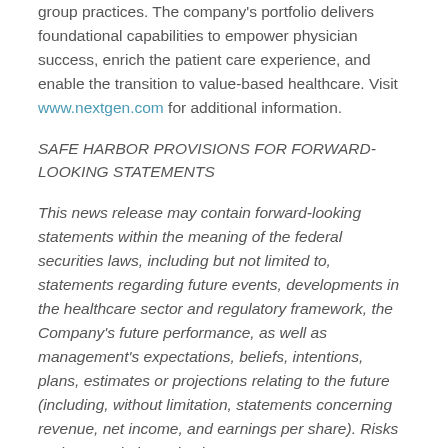group practices. The company's portfolio delivers foundational capabilities to empower physician success, enrich the patient care experience, and enable the transition to value-based healthcare. Visit www.nextgen.com for additional information.
SAFE HARBOR PROVISIONS FOR FORWARD-LOOKING STATEMENTS
This news release may contain forward-looking statements within the meaning of the federal securities laws, including but not limited to, statements regarding future events, developments in the healthcare sector and regulatory framework, the Company's future performance, as well as management's expectations, beliefs, intentions, plans, estimates or projections relating to the future (including, without limitation, statements concerning revenue, net income, and earnings per share). Risks and uncertainties exist that